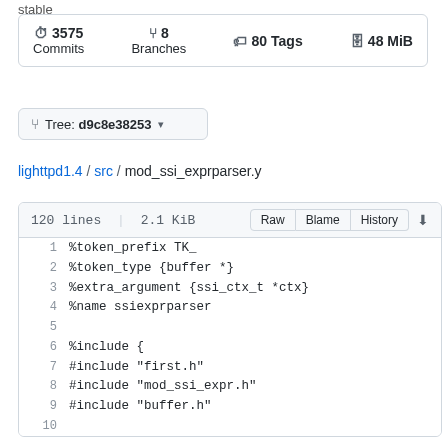stable
3575 Commits  8 Branches  80 Tags  48 MiB
Tree: d9c8e38253
lighttpd1.4 / src / mod_ssi_exprparser.y
120 lines | 2.1 KiB  Raw  Blame  History
1  %token_prefix TK_
2  %token_type {buffer *}
3  %extra_argument {ssi_ctx_t *ctx}
4  %name ssiexprparser
5  
6  %include {
7  #include "first.h"
8  #include "mod_ssi_expr.h"
9  #include "buffer.h"
10